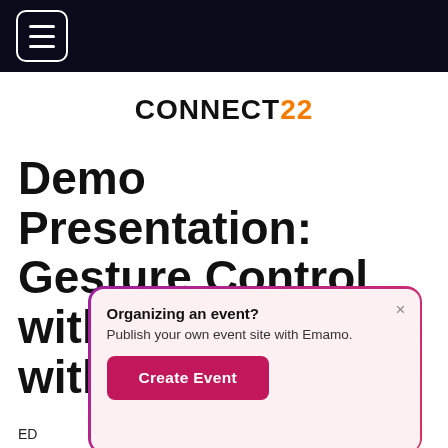Navigation bar with hamburger menu icon
CONNECT22
Demo Presentation: Gesture Control with Mi Mu Gloves with R
[Figure (screenshot): Popup dialog box with gradient border (purple to pink-red). Title: 'Organizing an event?', subtitle: 'Publish your own event site with Emamo.', and a 'Create Event' button in magenta. Close X button top right.]
ED